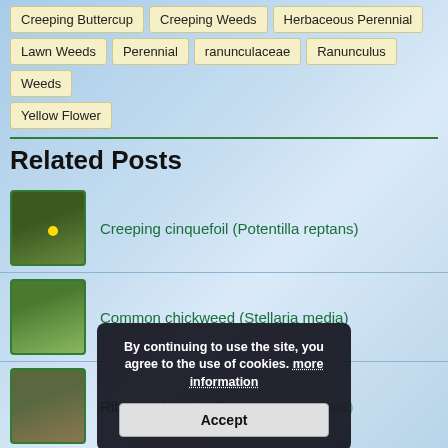Creeping Buttercup
Creeping Weeds
Herbaceous Perennial
Lawn Weeds
Perennial
ranunculaceae
Ranunculus
Weeds
Yellow Flower
Related Posts
Creeping cinquefoil (Potentilla reptans)
Common chickweed (Stellaria media)
Ribwort plantain (Plantago lanceolata)
Yarrow (Achillea millefolium)
By continuing to use the site, you agree to the use of cookies. more information
Accept